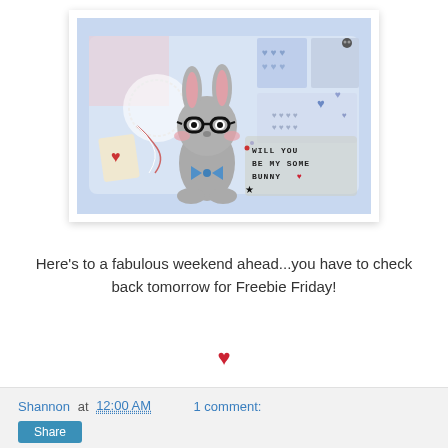[Figure (photo): Craft card featuring a cartoon bunny wearing glasses with text 'Will You Be My Some Bunny', decorated with hearts and bow tie, on a patterned background]
Here's to a fabulous weekend ahead...you have to check back tomorrow for Freebie Friday!
♥
Shannon at 12:00 AM    1 comment:
Share